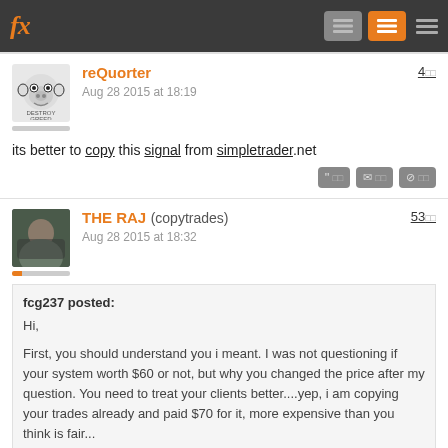fx
reQuorter — Aug 28 2015 at 18:19 — 400
its better to copy this signal from simpletrader.net
THE RAJ (copytrades) — Aug 28 2015 at 18:32 — 5300
fcg237 posted:
Hi,

First, you should understand you i meant. I was not questioning if your system worth $60 or not, but why you changed the price after my question. You need to treat your clients better....yep, i am copying your trades already and paid $70 for it, more expensive than you think is fair...